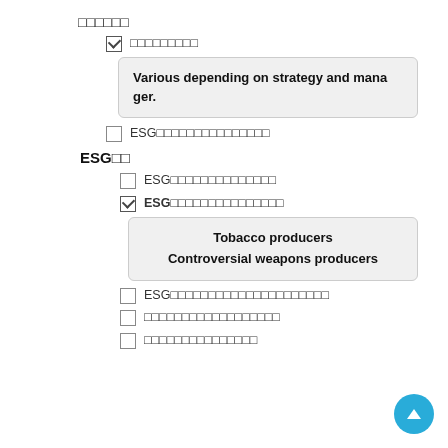□□□□□□
□□□□□□□□□ (checked)
Various depending on strategy and manager.
ESG□□□□□□□□□□□□□□□
ESG□□
ESG□□□□□□□□□□□□□□
ESG□□□□□□□□□□□□□□□ (checked, bold)
Tobacco producers
Controversial weapons producers
ESG□□□□□□□□□□□□□□□□□□□□□
□□□□□□□□□□□□□□□□□□
□□□□□□□□□□□□□□□